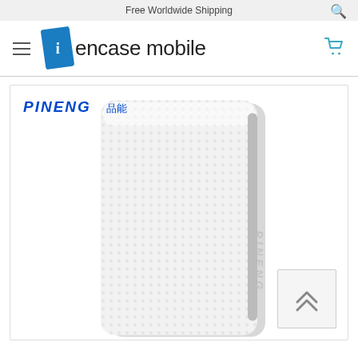Free Worldwide Shipping
[Figure (logo): iEncase mobile logo with blue tilted 'i' icon and text 'encase mobile']
[Figure (photo): White PINENG power bank with textured surface, shown against white background. PINENG brand logo in blue italic text at top left of product area.]